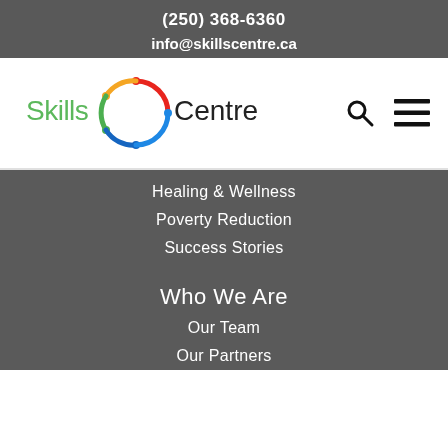(250) 368-6360
info@skillscentre.ca
[Figure (logo): Skills Centre logo with colorful circular icon and green/black text]
Healing & Wellness
Poverty Reduction
Success Stories
Who We Are
Our Team
Our Partners